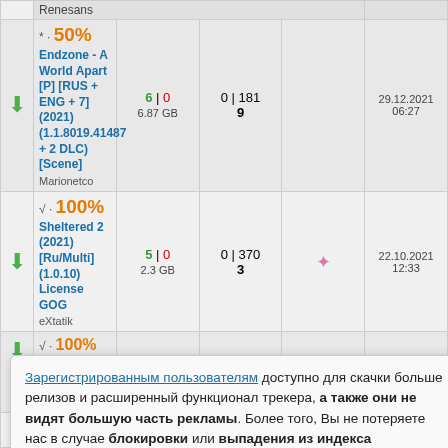|  | Title | Seeds|Leeches | Downloads | Stars | Date |
| --- | --- | --- | --- | --- | --- |
| Renesans |
| ↓ | * · 50% Endzone - A World Apart [P] [RUS + ENG + 7] (2021) (1.1.8019.41487 + 2 DLC) [Scene]
Marionetco | 6 | 0
6.87 GB | 0 | 181
9 |  | 29.12.2021 06:27 |
| ↓ | √ · 100% Sheltered 2 (2021) [Ru/Multi] (1.0.10) License GOG
eXtatik | 5 | 0
2.3 GB | 0 | 370
3 | ★ | 22.10.2021 12:33 |
| ↓ | √ · 100% Rise Eterna / v 1.0.0 [2021 г., jRPG, Tactical RPG, | 3 | 0 | 1 | 659 | ★ | 22.10.2021 12:22 |
| ↓ | RUS/MULTI [L] от GOG [Deluxe |  |  |  |  |
Зарегистрированным пользователям доступно для скачки больше релизов и расширенный функционал трекера, а также они не видят большую часть рекламы. Более того, Вы не потеряете нас в случае блокировки или выпадения из индекса поисковиков. Вы желаете зарегистрироваться?
Да, прямо сейчас! | Нет, спасибо